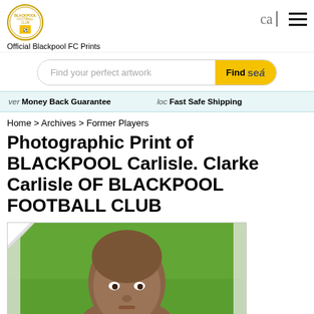Official Blackpool FC Prints
Find your perfect artwork
ver Money Back Guarantee   loc Fast Safe Shipping
Home > Archives > Former Players
Photographic Print of BLACKPOOL Carlisle. Clarke Carlisle OF BLACKPOOL FOOTBALL CLUB
[Figure (photo): Close-up photo of Clarke Carlisle, a footballer, in front of a green background, shown from shoulders up with a shaved head]